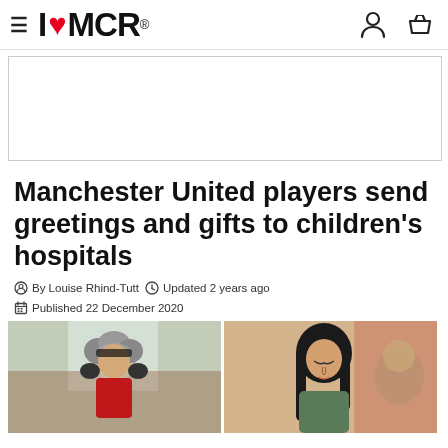I ❤ MCR
[Figure (other): Advertisement block (blank white rectangle with border)]
Manchester United players send greetings and gifts to children's hospitals
By Louise Rhind-Tutt   Updated 2 years ago   Published 22 December 2020
[Figure (photo): Two-panel photo: left shows a child with grey curly hair wearing a red outfit, right shows a woman with long dark hair looking down, in a colorful indoor setting.]